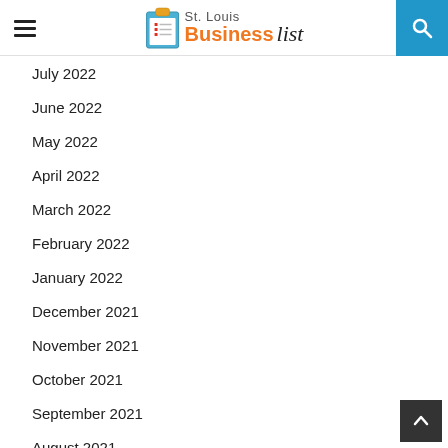St. Louis Business List
July 2022
June 2022
May 2022
April 2022
March 2022
February 2022
January 2022
December 2021
November 2021
October 2021
September 2021
August 2021
February 2021
December 2020